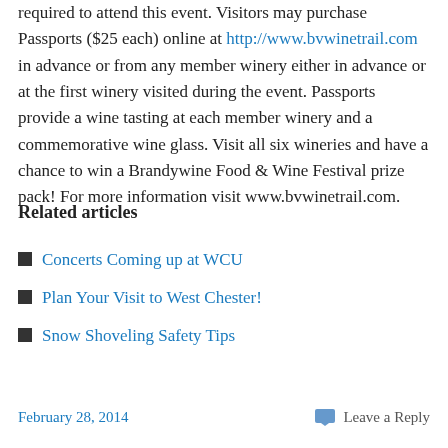required to attend this event. Visitors may purchase Passports ($25 each) online at http://www.bvwinetrail.com in advance or from any member winery either in advance or at the first winery visited during the event. Passports provide a wine tasting at each member winery and a commemorative wine glass. Visit all six wineries and have a chance to win a Brandywine Food & Wine Festival prize pack! For more information visit www.bvwinetrail.com.
Related articles
Concerts Coming up at WCU
Plan Your Visit to West Chester!
Snow Shoveling Safety Tips
February 28, 2014   Leave a Reply